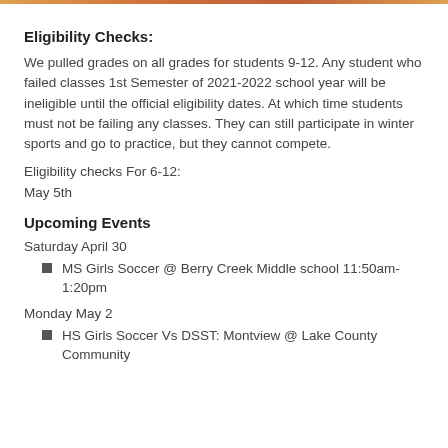Eligibility Checks:
We pulled grades on all grades for students 9-12. Any student who failed classes 1st Semester of 2021-2022 school year will be ineligible until the official eligibility dates. At which time students must not be failing any classes. They can still participate in winter sports and go to practice, but they cannot compete.
Eligibility checks For 6-12:
May 5th
Upcoming Events
Saturday April 30
MS Girls Soccer @ Berry Creek Middle school 11:50am-1:20pm
Monday May 2
HS Girls Soccer Vs DSST: Montview @ Lake County Community